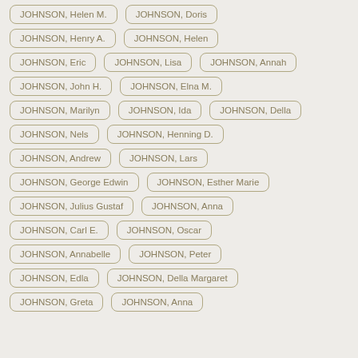JOHNSON, Helen M.
JOHNSON, Doris
JOHNSON, Henry A.
JOHNSON, Helen
JOHNSON, Eric
JOHNSON, Lisa
JOHNSON, Annah
JOHNSON, John H.
JOHNSON, Elna M.
JOHNSON, Marilyn
JOHNSON, Ida
JOHNSON, Della
JOHNSON, Nels
JOHNSON, Henning D.
JOHNSON, Andrew
JOHNSON, Lars
JOHNSON, George Edwin
JOHNSON, Esther Marie
JOHNSON, Julius Gustaf
JOHNSON, Anna
JOHNSON, Carl E.
JOHNSON, Oscar
JOHNSON, Annabelle
JOHNSON, Peter
JOHNSON, Edla
JOHNSON, Della Margaret
JOHNSON, Greta
JOHNSON, Anna